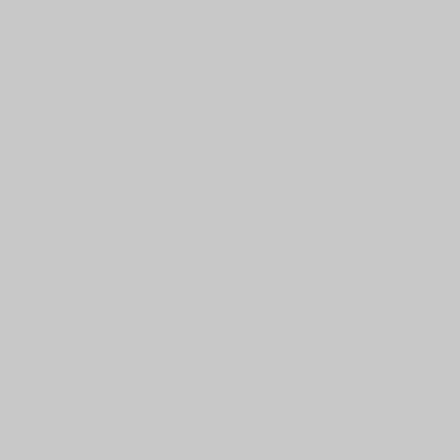(... They were the parents of Elizabeth Brownrigg Henderson, who married United States Navy Captain Lyman A. Cotten; Archibald Henderson, professor of mathematics at the University of North Carolina, who married Barbara Cur Bynum; John Steele Henderson Jr., electrical engineer for Westinghouse, who married Ruth King; and Mary Ferrand Henderson...